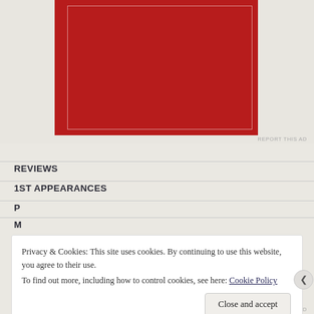[Figure (other): Red advertisement banner with dark red background and thin white inner border rectangle]
REPORT THIS AD
REVIEWS
1ST APPEARANCES
P
Privacy & Cookies: This site uses cookies. By continuing to use this website, you agree to their use.
To find out more, including how to control cookies, see here: Cookie Policy
Close and accept
REPORT THIS AD